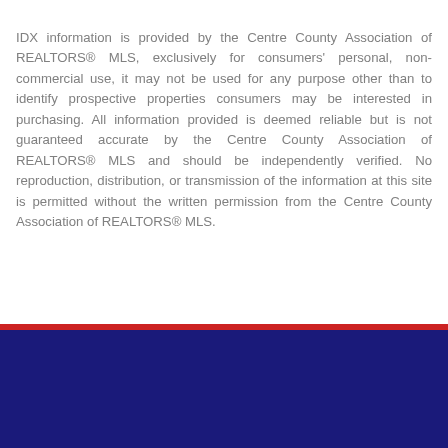IDX information is provided by the Centre County Association of REALTORS® MLS, exclusively for consumers' personal, non-commercial use, it may not be used for any purpose other than to identify prospective properties consumers may be interested in purchasing. All information provided is deemed reliable but is not guaranteed accurate by the Centre County Association of REALTORS® MLS and should be independently verified. No reproduction, distribution, or transmission of the information at this site is permitted without the written permission from the Centre County Association of REALTORS® MLS.